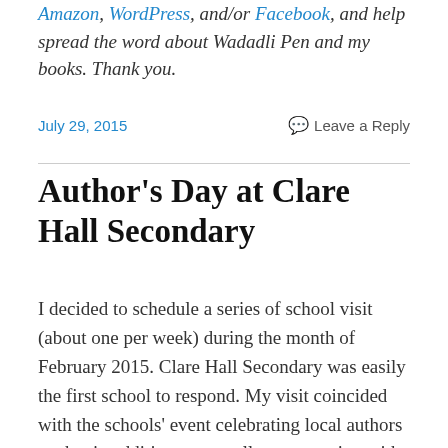Amazon, WordPress, and/or Facebook, and help spread the word about Wadadli Pen and my books. Thank you.
July 29, 2015    Leave a Reply
Author's Day at Clare Hall Secondary
I decided to schedule a series of school visit (about one per week) during the month of February 2015. Clare Hall Secondary was easily the first school to respond. My visit coincided with the schools' event celebrating local authors so that in addition to a small group session with some fourth formers, I got to share the stage for a more expansive session with Lionel Max Hurst (author of Democracy by Diplomacy), Timothy Payne (author of